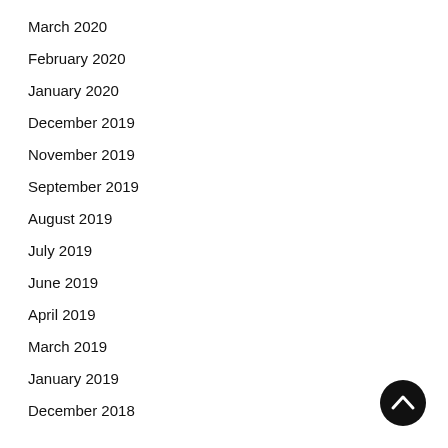March 2020
February 2020
January 2020
December 2019
November 2019
September 2019
August 2019
July 2019
June 2019
April 2019
March 2019
January 2019
December 2018
[Figure (other): Black circular button with white upward chevron arrow (back to top button)]